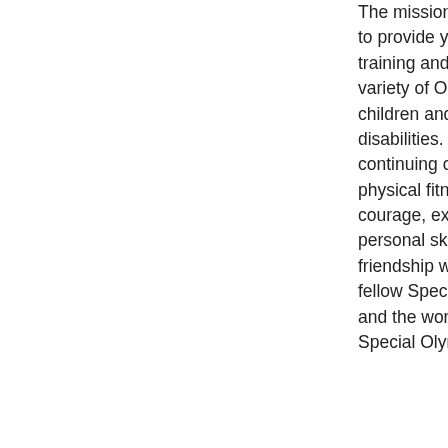The mission of Special Olympics is to provide year-round sports training and athletic competition in a variety of Olympic-type sports for children and adults with intellectual disabilities. We give them continuing opportunities to develop physical fitness, demonstrate courage, experience joy, and share personal skills, gifts of spirit, and friendship with their families, their fellow Special Olympics athletes, and the world. In all that they do, Special Olympics strives to awaken